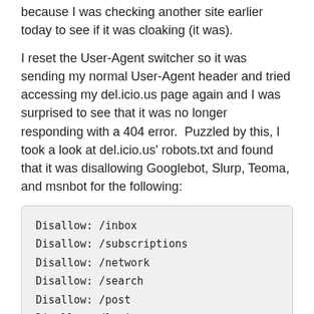because I was checking another site earlier today to see if it was cloaking (it was).
I reset the User-Agent switcher so it was sending my normal User-Agent header and tried accessing my del.icio.us page again and I was surprised to see that it was no longer responding with a 404 error.  Puzzled by this, I took a look at del.icio.us' robots.txt and found that it was disallowing Googlebot, Slurp, Teoma, and msnbot for the following:
Disallow: /inbox
Disallow: /subscriptions
Disallow: /network
Disallow: /search
Disallow: /post
Disallow: /login
Disallow: /rss
Seeing that the robots.txt was blocking these search engine spiders, I tried accessing del.icio.us with my User-Agent switcher set to each of the disallowed User-Agents and